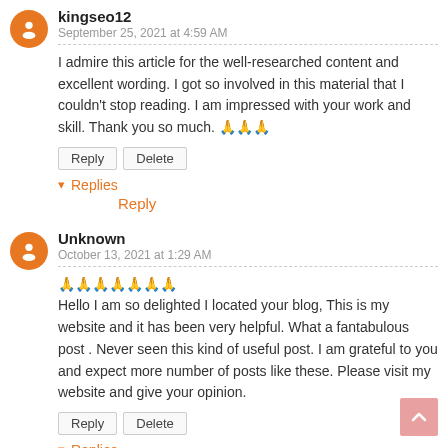kingseo12
September 25, 2021 at 4:59 AM
I admire this article for the well-researched content and excellent wording. I got so involved in this material that I couldn't stop reading. I am impressed with your work and skill. Thank you so much. 🙏🙏🙏
Reply  Delete
▾ Replies
Reply
Unknown
October 13, 2021 at 1:29 AM
🙏🙏🙏🙏🙏🙏🙏 Hello I am so delighted I located your blog, This is my website and it has been very helpful. What a fantabulous post . Never seen this kind of useful post. I am grateful to you and expect more number of posts like these. Please visit my website and give your opinion.
Reply  Delete
▾ Replies
Reply